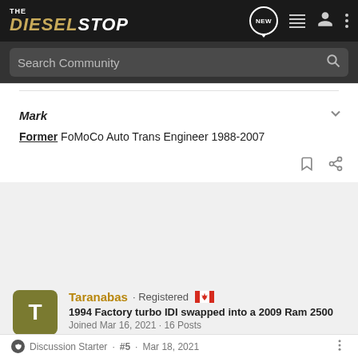THE DIESELSTOP · Search Community
Mark · Former FoMoCo Auto Trans Engineer 1988-2007
Taranabas · Registered · 1994 Factory turbo IDI swapped into a 2009 Ram 2500 · Joined Mar 16, 2021 · 16 Posts
Discussion Starter · #5 · Mar 18, 2021